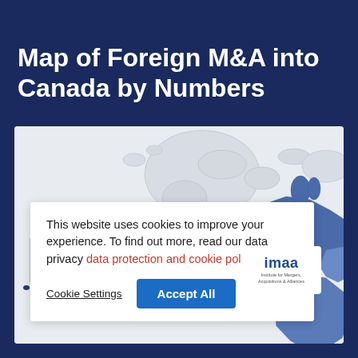Map of Foreign M&A into Canada by Numbers
[Figure (map): World map showing foreign M&A into Canada by numbers. North America, Europe, and parts of Africa highlighted in blue. Greenland and Arctic regions shown in light grey. The map is partially obscured by a cookie consent banner.]
This website uses cookies to improve your experience. To find out more, read our data privacy data protection and cookie policy
Cookie Settings
Accept All